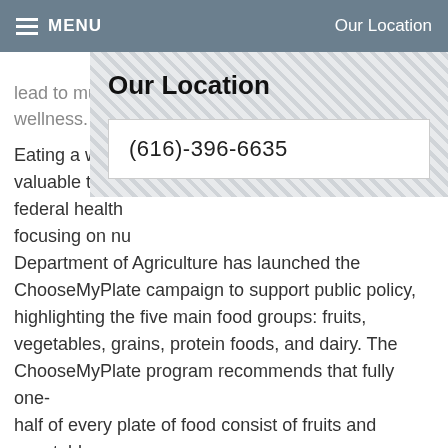MENU   Our Location
lead to multiple
wellness.
Our Location
(616)-396-6635
Eating a wide variety of fruits and vegetables, valuable that the federal health focusing on nutrition, the U.S. Department of Agriculture has launched the ChooseMyPlate campaign to support public policy, highlighting the five main food groups: fruits, vegetables, grains, protein foods, and dairy. The ChooseMyPlate program recommends that fully one-half of every plate of food consist of fruits and vegetables.
Physiologically, all bodily systems, most especially the gastrointestinal system and immune system, depend on nutrition gained from fruits and vegetables. Consuming fresh produce daily enables the gastrointestinal system, that is, your stomach, small intestine, and large intestine, to process food effectively and facilitate the transit of food throughout the gastrointestinal tract.